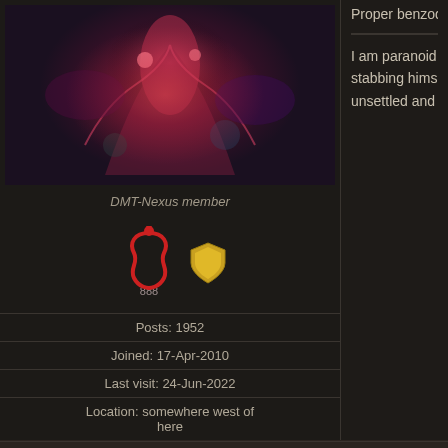[Figure (photo): Avatar image with dark fantasy creature art]
DMT-Nexus member
[Figure (illustration): Red snake/serpent badge icon and gold shield badge icon]
Posts: 1952
Joined: 17-Apr-2010
Last visit: 24-Jun-2022
Location: somewhere west of here
Proper benzodiazepines are fine with MAO inhibitors; the
I am paranoid of my brain. It thinks all the time, even when I'm a stabbing himself with one hand while the other hand tries to sto unsettled and ill at ease. Makes me chase my tail, freezes my e
Users browsing this forum
Guest
Welcome to the DMT-Nexus » THE DMT-NEXUS SITE » Safety » Health & Safety » DMT dosing with